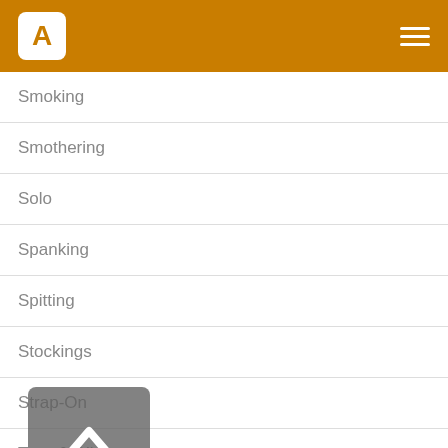A
Smoking
Smothering
Solo
Spanking
Spitting
Stockings
Strap-On
Toys & Dildos
Virtual Reality
ARCHIVES